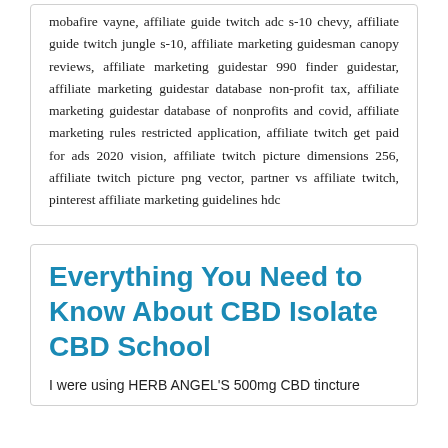mobafire vayne, affiliate guide twitch adc s-10 chevy, affiliate guide twitch jungle s-10, affiliate marketing guidesman canopy reviews, affiliate marketing guidestar 990 finder guidestar, affiliate marketing guidestar database non-profit tax, affiliate marketing guidestar database of nonprofits and covid, affiliate marketing rules restricted application, affiliate twitch get paid for ads 2020 vision, affiliate twitch picture dimensions 256, affiliate twitch picture png vector, partner vs affiliate twitch, pinterest affiliate marketing guidelines hdc
Everything You Need to Know About CBD Isolate CBD School
I were using HERB ANGEL'S 500mg CBD tincture